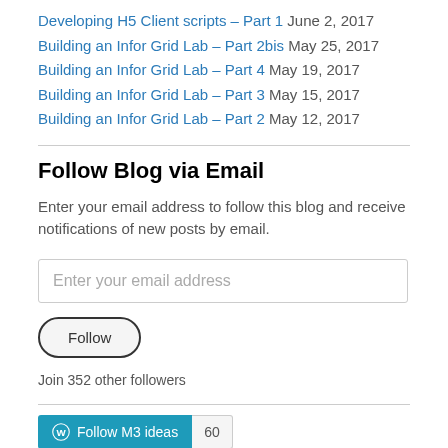Developing H5 Client scripts – Part 1  June 2, 2017
Building an Infor Grid Lab – Part 2bis  May 25, 2017
Building an Infor Grid Lab – Part 4  May 19, 2017
Building an Infor Grid Lab – Part 3  May 15, 2017
Building an Infor Grid Lab – Part 2  May 12, 2017
Follow Blog via Email
Enter your email address to follow this blog and receive notifications of new posts by email.
Enter your email address
Follow
Join 352 other followers
Follow M3 ideas  60